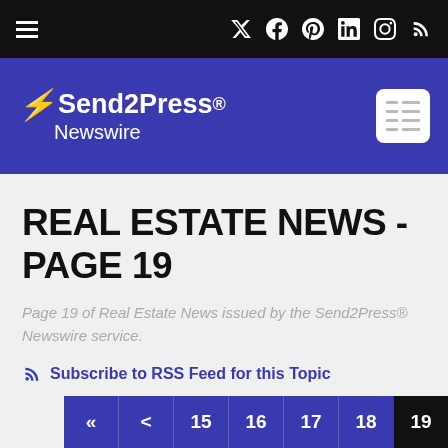Send2Press Newswire — navigation bar
REAL ESTATE NEWS - PAGE 19
Page 19 of Real Estate News issued by the Send2Press® Newswire service.
Subscribe to RSS Feed for this Topic
« < 15 16 17 18 19